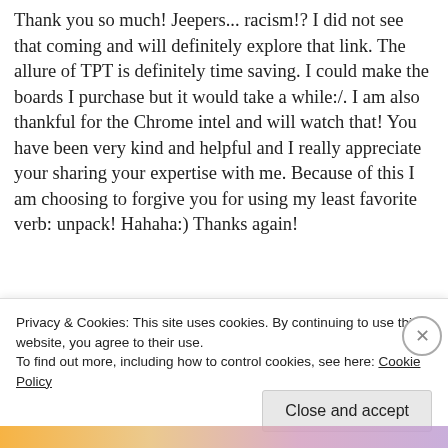Thank you so much! Jeepers... racism!? I did not see that coming and will definitely explore that link. The allure of TPT is definitely time saving. I could make the boards I purchase but it would take a while:/. I am also thankful for the Chrome intel and will watch that! You have been very kind and helpful and I really appreciate your sharing your expertise with me. Because of this I am choosing to forgive you for using my least favorite verb: unpack! Hahaha:) Thanks again!
Liked by 1 person
Privacy & Cookies: This site uses cookies. By continuing to use this website, you agree to their use.
To find out more, including how to control cookies, see here: Cookie Policy
Close and accept